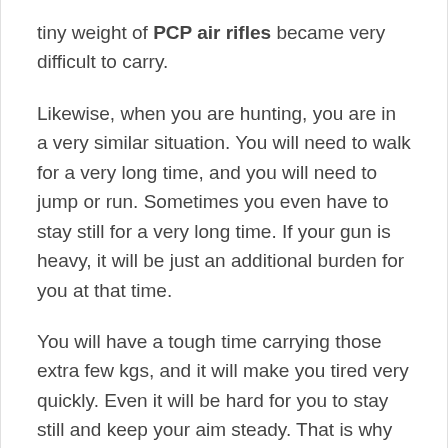tiny weight of PCP air rifles became very difficult to carry.
Likewise, when you are hunting, you are in a very similar situation. You will need to walk for a very long time, and you will need to jump or run. Sometimes you even have to stay still for a very long time. If your gun is heavy, it will be just an additional burden for you at that time.
You will have a tough time carrying those extra few kgs, and it will make you tired very quickly. Even it will be hard for you to stay still and keep your aim steady. That is why it's better to go for air rifles that are a bit more lightweight.